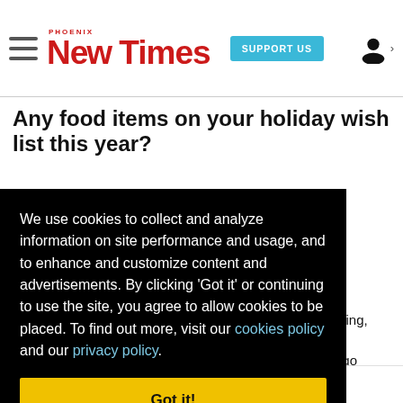Phoenix New Times | SUPPORT US
Any food items on your holiday wish list this year?
We use cookies to collect and analyze information on site performance and usage, and to enhance and customize content and advertisements. By clicking 'Got it' or continuing to use the site, you agree to allow cookies to be placed. To find out more, visit our cookies policy and our privacy policy.
Got it!
Ellis Family Sugar Cookies